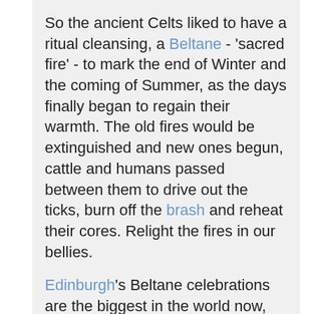So the ancient Celts liked to have a ritual cleansing, a Beltane - 'sacred fire' - to mark the end of Winter and the coming of Summer, as the days finally began to regain their warmth. The old fires would be extinguished and new ones begun, cattle and humans passed between them to drive out the ticks, burn off the brash and reheat their cores. Relight the fires in our bellies.
Edinburgh's Beltane celebrations are the biggest in the world now, with thousands of people gathering on Calton Hill at the end of April every year to burn away the remnants of the cold times, and usher in the warm. I've been